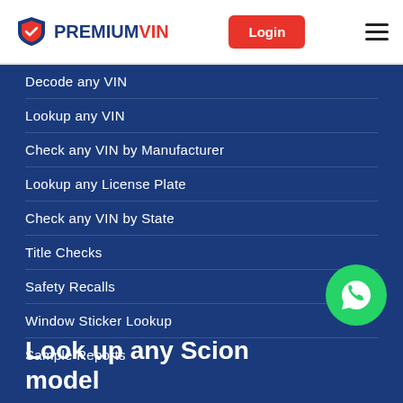PREMIUMVIN — Login
Decode any VIN
Lookup any VIN
Check any VIN by Manufacturer
Lookup any License Plate
Check any VIN by State
Title Checks
Safety Recalls
Window Sticker Lookup
Sample Reports
Look up any Scion model